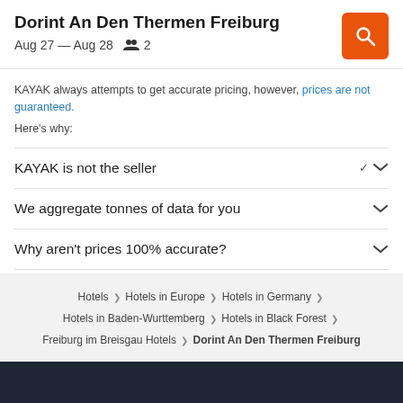Dorint An Den Thermen Freiburg
Aug 27 — Aug 28   2
KAYAK always attempts to get accurate pricing, however, prices are not guaranteed.
Here's why:
KAYAK is not the seller
We aggregate tonnes of data for you
Why aren't prices 100% accurate?
Hotels > Hotels in Europe > Hotels in Germany > Hotels in Baden-Wurttemberg > Hotels in Black Forest > Freiburg im Breisgau Hotels > Dorint An Den Thermen Freiburg